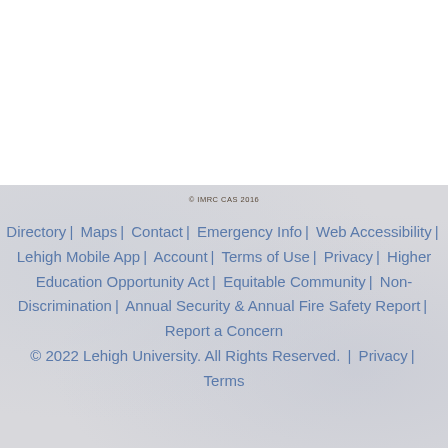© IMRC CAS 2016
Directory | Maps | Contact | Emergency Info | Web Accessibility | Lehigh Mobile App | Account | Terms of Use | Privacy | Higher Education Opportunity Act | Equitable Community | Non-Discrimination | Annual Security & Annual Fire Safety Report | Report a Concern © 2022 Lehigh University. All Rights Reserved. | Privacy | Terms